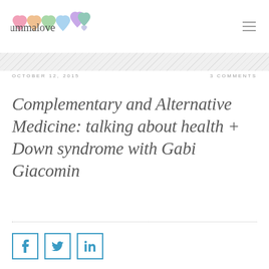Mummalove
OCTOBER 12, 2015
3 COMMENTS
Complementary and Alternative Medicine: talking about health + Down syndrome with Gabi Giacomin
[Figure (other): Social share buttons: Facebook, Twitter, LinkedIn]